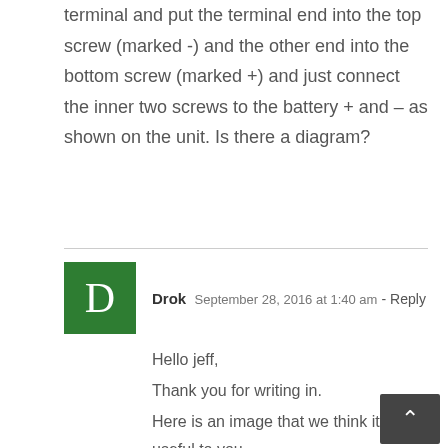terminal and put the terminal end into the top screw (marked -) and the other end into the bottom screw (marked +) and just connect the inner two screws to the battery + and – as shown on the unit. Is there a diagram?
Drok September 28, 2016 at 1:40 am - Reply
Hello jeff,
Thank you for writing in.
Here is an image that we think it is useful to you.
[Wiring Digram_200139...]
Hope this can help you